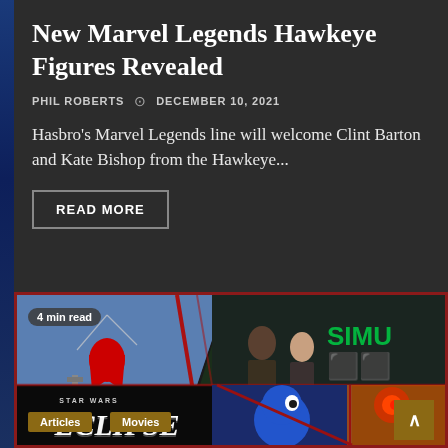New Marvel Legends Hawkeye Figures Revealed
PHIL ROBERTS  ⊙  DECEMBER 10, 2021
Hasbro's Marvel Legends line will welcome Clint Barton and Kate Bishop from the Hawkeye...
READ MORE
[Figure (photo): Collage of movie/TV images: Spider-Man swinging, two actors from The Matrix Resurrections, Star Wars Eclipse logo, Sonic the Hedgehog, and animated character. Badge showing '4 min read'. Tags: Articles, Movies.]